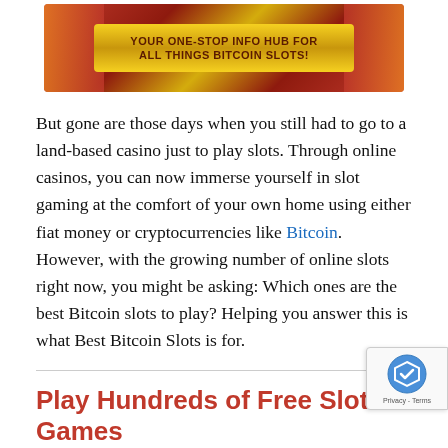[Figure (illustration): Bitcoin slots promotional banner with red casino-themed decorations on sides and a gold ribbon in the center reading 'YOUR ONE-STOP INFO HUB FOR ALL THINGS BITCOIN SLOTS!']
But gone are those days when you still had to go to a land-based casino just to play slots. Through online casinos, you can now immerse yourself in slot gaming at the comfort of your own home using either fiat money or cryptocurrencies like Bitcoin. However, with the growing number of online slots right now, you might be asking: Which ones are the best Bitcoin slots to play? Helping you answer this is what Best Bitcoin Slots is for.
Play Hundreds of Free Slot Games
Best Bitcoin Slots understands if you are quite picky when looking for a slot title to play using real money. That is why we give you fair reviews of different Bitcoin slots. The reviews come with free demos which allow you to play...